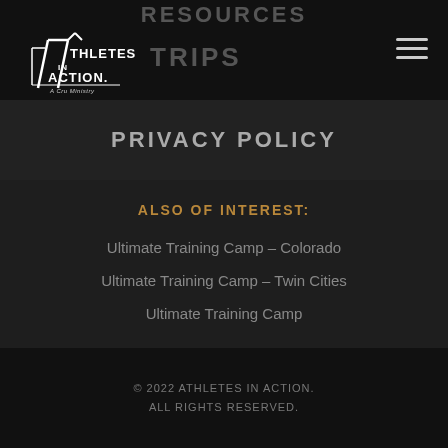RESOURCES
[Figure (logo): Athletes in Action logo — A Cru Ministry]
TRIPS
PRIVACY POLICY
ALSO OF INTEREST:
Ultimate Training Camp – Colorado
Ultimate Training Camp – Twin Cities
Ultimate Training Camp
© 2022 ATHLETES IN ACTION. ALL RIGHTS RESERVED.